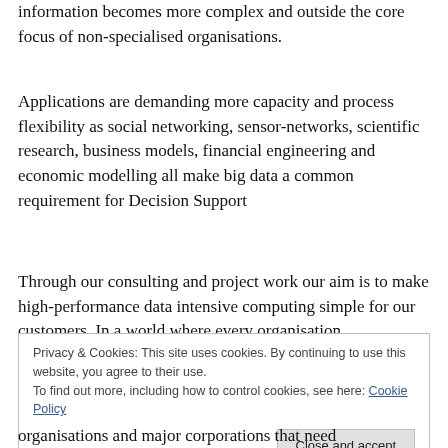information becomes more complex and outside the core focus of non-specialised organisations.
Applications are demanding more capacity and process flexibility as social networking, sensor-networks, scientific research, business models, financial engineering and economic modelling all make big data a common requirement for Decision Support
Through our consulting and project work our aim is to make high-performance data intensive computing simple for our customers. In a world where every organisation
Privacy & Cookies: This site uses cookies. By continuing to use this website, you agree to their use.
To find out more, including how to control cookies, see here: Cookie Policy
organisations and major corporations that need